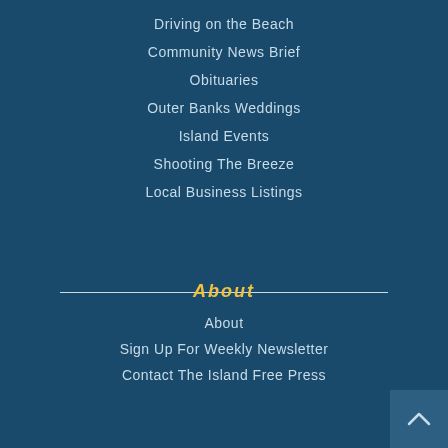Driving on the Beach
Community News Brief
Obituaries
Outer Banks Weddings
Island Events
Shooting The Breeze
Local Business Listings
About
About
Sign Up For Weekly Newsletter
Contact The Island Free Press